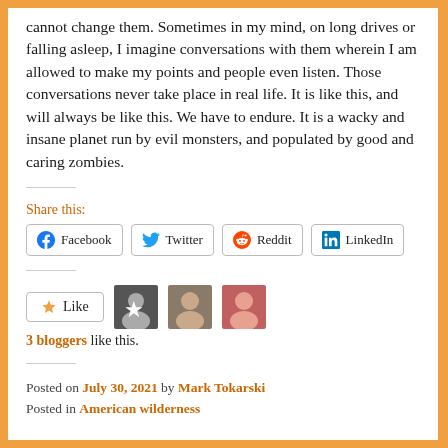cannot change them. Sometimes in my mind, on long drives or falling asleep, I imagine conversations with them wherein I am allowed to make my points and people even listen. Those conversations never take place in real life. It is like this, and will always be like this. We have to endure. It is a wacky and insane planet run by evil monsters, and populated by good and caring zombies.
Share this:
Facebook | Twitter | Reddit | LinkedIn
Like
3 bloggers like this.
Posted on July 30, 2021 by Mark Tokarski
Posted in American wilderness